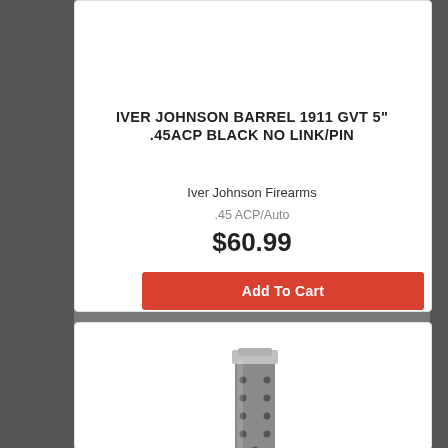IVER JOHNSON BARREL 1911 GVT 5" .45ACP BLACK NO LINK/PIN
Iver Johnson Firearms
.45 ACP/Auto
$60.99
Add To Cart
[Figure (photo): A firearm magazine (gun magazine) shown vertically, metal construction with holes along the side, silver/gray color with chrome top]